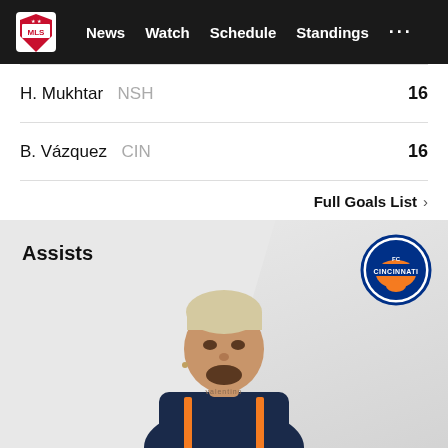MLS | News | Watch | Schedule | Standings
H. Mukhtar NSH 16
B. Vázquez CIN 16
Full Goals List >
Assists
[Figure (photo): FC Cincinnati player headshot photo, male player with light-colored hair wearing dark navy/blue FC Cincinnati jersey with orange stripes and 'valentino' neck tattoo. FC Cincinnati crest badge shown top right of card.]